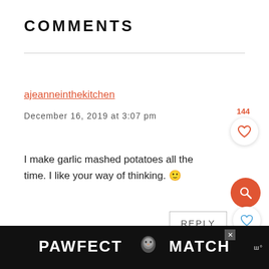COMMENTS
ajeanneinthekitchen
December 16, 2019 at 3:07 pm
I make garlic mashed potatoes all the time. I like your way of thinking. 🙂
REPLY
[Figure (other): PAWFECT MATCH advertisement banner at bottom of page]